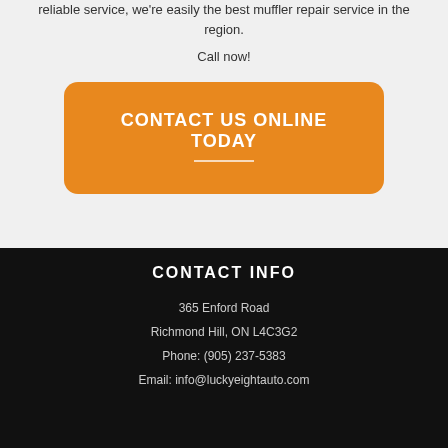reliable service, we're easily the best muffler repair service in the region.
Call now!
CONTACT US ONLINE TODAY
CONTACT INFO
365 Enford Road
Richmond Hill, ON L4C3G2
Phone: (905) 237-5383
Email: info@luckyeightauto.com